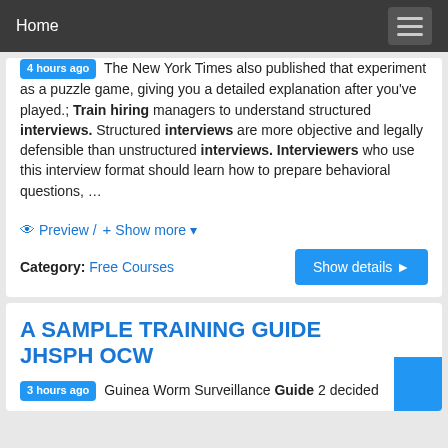Home
4 hours ago The New York Times also published that experiment as a puzzle game, giving you a detailed explanation after you've played.; Train hiring managers to understand structured interviews. Structured interviews are more objective and legally defensible than unstructured interviews. Interviewers who use this interview format should learn how to prepare behavioral questions, …
Preview / + Show more ▾
Category: Free Courses   Show details ▶
A SAMPLE TRAINING GUIDE JHSPH OCW
3 hours ago Guinea Worm Surveillance Guide 2 decided